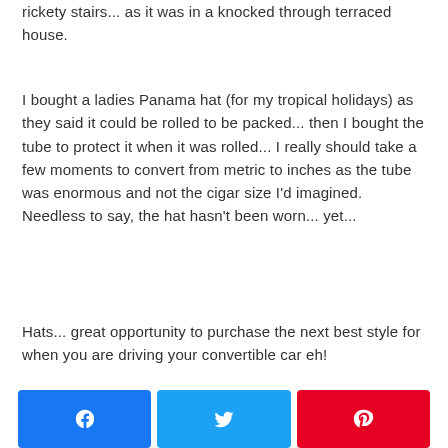rickety stairs... as it was in a knocked through terraced house.
I bought a ladies Panama hat (for my tropical holidays) as they said it could be rolled to be packed... then I bought the tube to protect it when it was rolled... I really should take a few moments to convert from metric to inches as the tube was enormous and not the cigar size I'd imagined. Needless to say, the hat hasn't been worn... yet...
Hats... great opportunity to purchase the next best style for when you are driving your convertible car eh!
[Figure (other): Social sharing buttons: Facebook (blue), Twitter (light blue), Pinterest (red)]